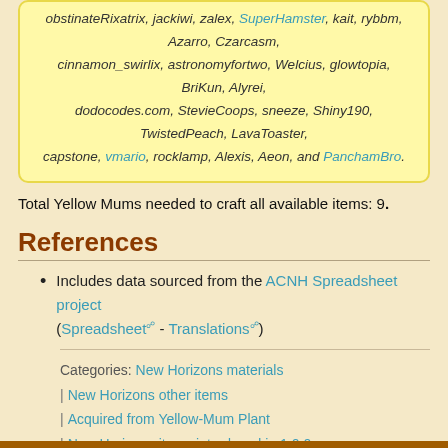obstinateRixatrix, jackiwi, zalex, SuperHamster, kait, rybbm, Azarro, Czarcasm, cinnamon_swirlix, astronomyfortwo, Welcius, glowtopia, BriKun, Alyrei, dodocodes.com, StevieCoops, sneeze, Shiny190, TwistedPeach, LavaToaster, capstone, vmario, rocklamp, Alexis, Aeon, and PanchamBro.
Total Yellow Mums needed to craft all available items: 9.
References
Includes data sourced from the ACNH Spreadsheet project (Spreadsheet - Translations)
Categories: New Horizons materials | New Horizons other items | Acquired from Yellow-Mum Plant | New Horizons items introduced in 1.0.0